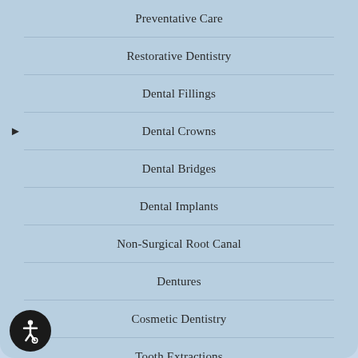Preventative Care
Restorative Dentistry
Dental Fillings
Dental Crowns
Dental Bridges
Dental Implants
Non-Surgical Root Canal
Dentures
Cosmetic Dentistry
Tooth Extractions
Periodontal Disease Treatment
Specialist Referrals